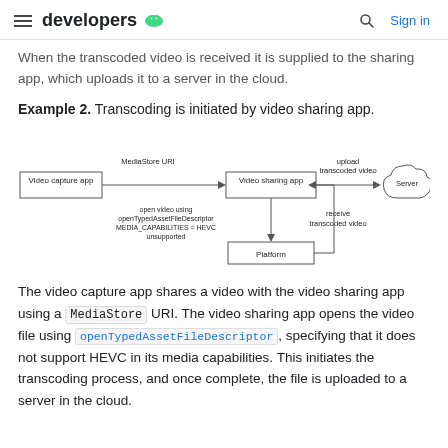developers [android logo]   [search]  Sign in
When the transcoded video is received it is supplied to the sharing app, which uploads it to a server in the cloud.
Example 2. Transcoding is initiated by video sharing app.
[Figure (flowchart): Flowchart showing: Video capture app -> (MediaStore URI) -> Video sharing app -> (upload transcoded video) -> Server (cloud). Video sharing app also shows: open video using openTypedAssetFileDescriptor MEDIA_CAPABILITIES = HEVC unsupported. Video sharing app -> Platform -> (receive transcoded video) -> Video sharing app.]
The video capture app shares a video with the video sharing app using a MediaStore URI. The video sharing app opens the video file using openTypedAssetFileDescriptor, specifying that it does not support HEVC in its media capabilities. This initiates the transcoding process, and once complete, the file is uploaded to a server in the cloud.